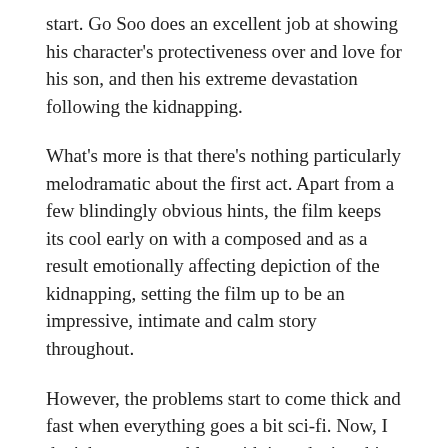start. Go Soo does an excellent job at showing his character's protectiveness over and love for his son, and then his extreme devastation following the kidnapping.
What's more is that there's nothing particularly melodramatic about the first act. Apart from a few blindingly obvious hints, the film keeps its cool early on with a composed and as a result emotionally affecting depiction of the kidnapping, setting the film up to be an impressive, intimate and calm story throughout.
However, the problems start to come thick and fast when everything goes a bit sci-fi. Now, I don't have any problem with introducing this sort of space-age technology into a contemporary setting, it's something that films like Inception do very well, but the issue here is the fact that the technology is introduced so abruptly, without enough emphasis placed on